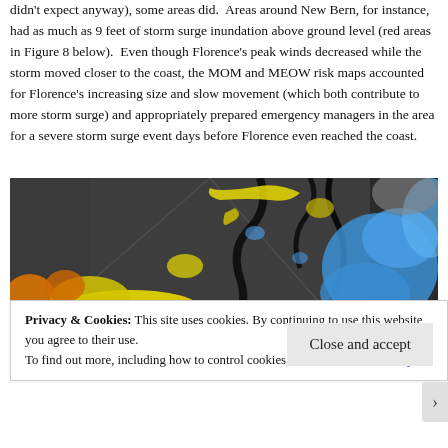didn't expect anyway), some areas did.  Areas around New Bern, for instance, had as much as 9 feet of storm surge inundation above ground level (red areas in Figure 8 below).  Even though Florence's peak winds decreased while the storm moved closer to the coast, the MOM and MEOW risk maps accounted for Florence's increasing size and slow movement (which both contribute to more storm surge) and appropriately prepared emergency managers in the area for a severe storm surge event days before Florence even reached the coast.
[Figure (map): Storm surge inundation map showing coastal areas around New Bern, NC with color-coded flood depths. Yellow indicates moderate inundation, blue indicates significant inundation, orange/red indicates severe inundation (up to 9 feet). Background is dark gray representing land, with black waterways visible.]
Privacy & Cookies: This site uses cookies. By continuing to use this website, you agree to their use.
To find out more, including how to control cookies, see here: Cookie Policy